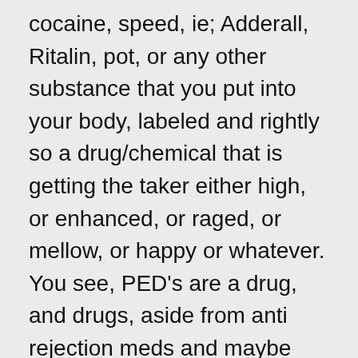cocaine, speed, ie; Adderall, Ritalin, pot, or any other substance that you put into your body, labeled and rightly so a drug/chemical that is getting the taker either high, or enhanced, or raged, or mellow, or happy or whatever. You see, PED's are a drug, and drugs, aside from anti rejection meds and maybe diabetes meds, are not designed to be in the human body long term. It is bad enough that pharm companies and media have us reaching for this cough medicine, that laxative, this allergy med, and not just over the counter but